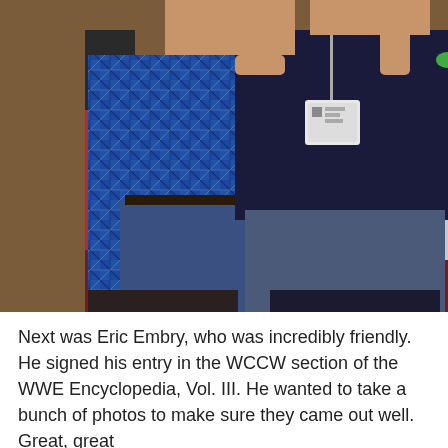[Figure (photo): Two men posing together at what appears to be a convention or event. The man on the left wears a blue plaid shirt and jeans. The man on the right wears a dark navy shirt, jeans, and has a lanyard/badge around his neck. They are standing together with arms around each other. The background shows a patterned carpet and red-draped tables typical of a convention hall.]
Next was Eric Embry, who was incredibly friendly. He signed his entry in the WCCW section of the WWE Encyclopedia, Vol. III. He wanted to take a bunch of photos to make sure they came out well. Great, great